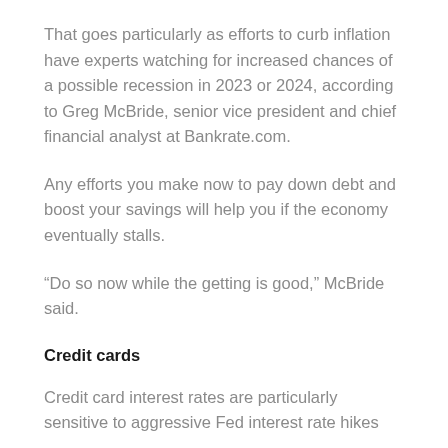That goes particularly as efforts to curb inflation have experts watching for increased chances of a possible recession in 2023 or 2024, according to Greg McBride, senior vice president and chief financial analyst at Bankrate.com.
Any efforts you make now to pay down debt and boost your savings will help you if the economy eventually stalls.
“Do so now while the getting is good,” McBride said.
Credit cards
Credit card interest rates are particularly sensitive to aggressive Fed interest rate hikes